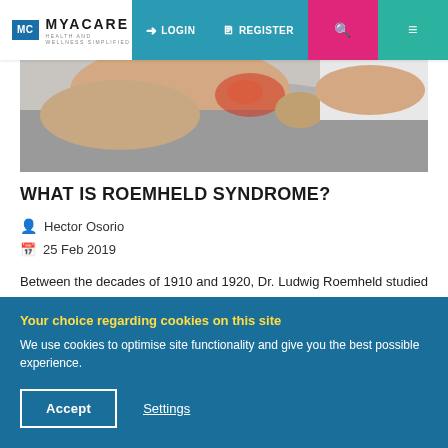[Figure (screenshot): MyaCare website navigation bar with logo, LOGIN, REGISTER, search and menu buttons]
[Figure (photo): Person touching their back/elbow area with redness indicating pain, hero image for article about Roemheld Syndrome]
WHAT IS ROEMHELD SYNDROME?
Hector Osorio
25 Feb 2019
Between the decades of 1910 and 1920, Dr. Ludwig Roemheld studied the phenomenon in which patien...
Your choice regarding cookies on this site
We use cookies to optimise site functionality and give you the best possible experience.